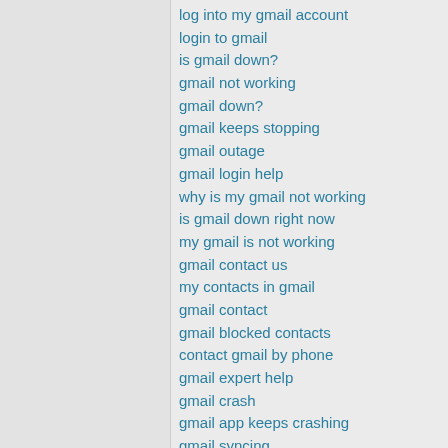log into my gmail account
login to gmail
is gmail down?
gmail not working
gmail down?
gmail keeps stopping
gmail outage
gmail login help
why is my gmail not working
is gmail down right now
my gmail is not working
gmail contact us
my contacts in gmail
gmail contact
gmail blocked contacts
contact gmail by phone
gmail expert help
gmail crash
gmail app keeps crashing
gmail syncing
forgot my email password gmail
gmail issues today
gmail not syncing
forgot email gmail